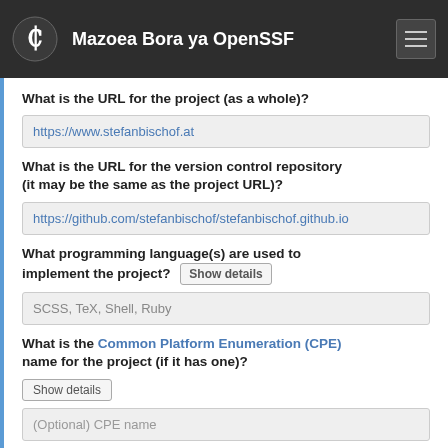Mazoea Bora ya OpenSSF
What is the URL for the project (as a whole)?
https://www.stefanbischof.at
What is the URL for the version control repository (it may be the same as the project URL)?
https://github.com/stefanbischof/stefanbischof.github.io
What programming language(s) are used to implement the project? Show details
SCSS, TeX, Shell, Ruby
What is the Common Platform Enumeration (CPE) name for the project (if it has one)?
(Optional) CPE name